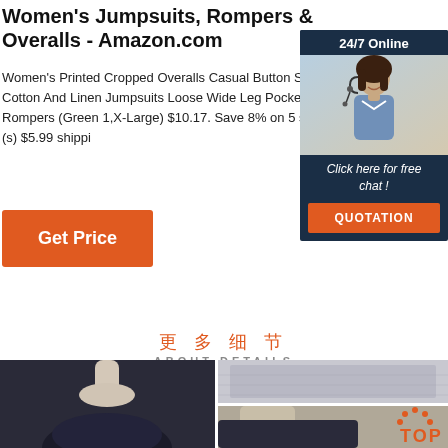Women's Jumpsuits, Rompers & Overalls - Amazon.com
Women's Printed Cropped Overalls Casual Button Strap Cotton And Linen Jumpsuits Loose Wide Leg Pockets Pant Rompers (Green 1,X-Large) $10.17. Save 8% on 5 select item (s) $5.99 shippi
[Figure (other): Orange 'Get Price' button]
[Figure (other): Chat widget with '24/7 Online' header, agent photo, 'Click here for free chat!' text, and orange QUOTATION button]
更多细节
ABOUT DETAILS
[Figure (photo): Left: dark navy garment on mannequin. Right top: grey fabric close-up. Right bottom: navy garment on mannequin with 'TOP' badge overlay.]